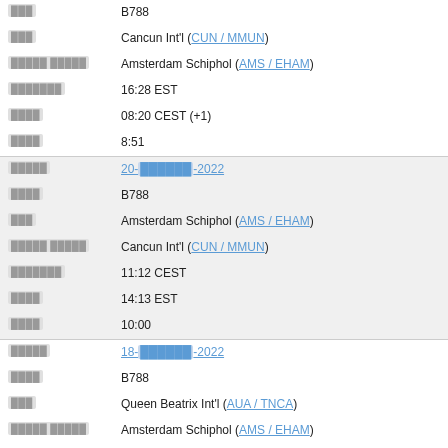| Field | Value |
| --- | --- |
| [label] | B788 |
| [label] | Cancun Int'l (CUN / MMUN) |
| [label] | Amsterdam Schiphol (AMS / EHAM) |
| [label] | 16:28 EST |
| [label] | 08:20 CEST (+1) |
| [label] | 8:51 |
| [label] | 20-[text]-2022 |
| [label] | B788 |
| [label] | Amsterdam Schiphol (AMS / EHAM) |
| [label] | Cancun Int'l (CUN / MMUN) |
| [label] | 11:12 CEST |
| [label] | 14:13 EST |
| [label] | 10:00 |
| [label] | 18-[text]-2022 |
| [label] | B788 |
| [label] | Queen Beatrix Int'l (AUA / TNCA) |
| [label] | Amsterdam Schiphol (AMS / EHAM) |
| [label] | 20:36 AST |
| [label] | 11:16 CEST (+1) |
| [label] | 8:39 |